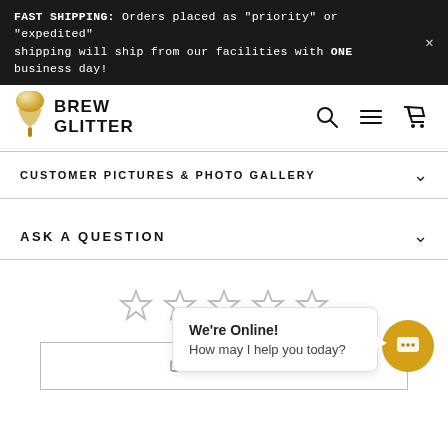FAST SHIPPING: Orders placed as "priority" or "expedited" shipping will ship from our facilities with ONE business day!
[Figure (logo): Brew Glitter logo with wine glass icon and bold text BREW GLITTER]
CUSTOMER PICTURES & PHOTO GALLERY
ASK A QUESTION
[Figure (other): Five empty star rating icons (0 out of 5 stars)]
[Figure (screenshot): Write a Review button (partially visible at bottom) with We're Online! chat popup overlay showing 'We're Online! How may I help you today?' and a gold chat button icon]